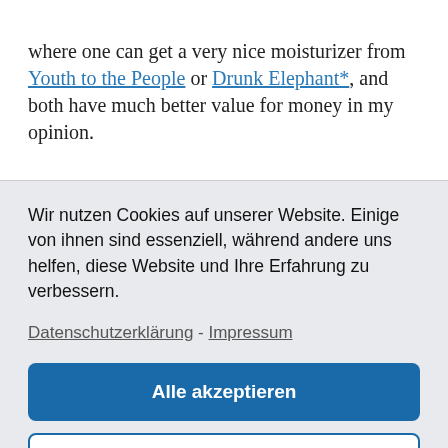where one can get a very nice moisturizer from Youth to the People or Drunk Elephant*, and both have much better value for money in my opinion.
Wir nutzen Cookies auf unserer Website. Einige von ihnen sind essenziell, während andere uns helfen, diese Website und Ihre Erfahrung zu verbessern.
Datenschutzerklärung - Impressum
Alle akzeptieren
Einstellungen